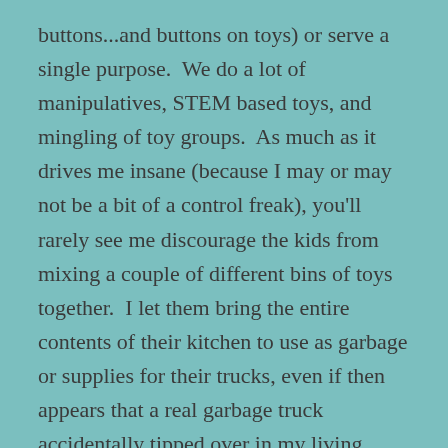buttons...and buttons on toys) or serve a single purpose.  We do a lot of manipulatives, STEM based toys, and mingling of toy groups.  As much as it drives me insane (because I may or may not be a bit of a control freak), you'll rarely see me discourage the kids from mixing a couple of different bins of toys together.  I let them bring the entire contents of their kitchen to use as garbage or supplies for their trucks, even if then appears that a real garbage truck accidentally tipped over in my living room.  But bear in mind one of my earlier tidbits– there ain't no way I'm cleaning that up for them!  If they want to be creative and mix toys, then they can go for it.  But you can be sure that I am not the one cleaning it up for them; they are perfectly capable of doing that